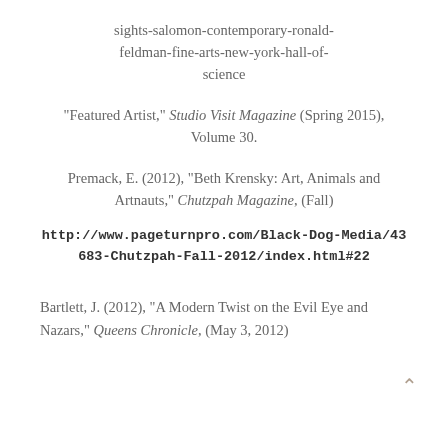sights-salomon-contemporary-ronald-feldman-fine-arts-new-york-hall-of-science
"Featured Artist," Studio Visit Magazine (Spring 2015), Volume 30.
Premack, E. (2012), "Beth Krensky: Art, Animals and Artnauts," Chutzpah Magazine, (Fall) http://www.pageturnpro.com/Black-Dog-Media/43683-Chutzpah-Fall-2012/index.html#22
Bartlett, J. (2012), "A Modern Twist on the Evil Eye and Nazars," Queens Chronicle, (May 3, 2012)